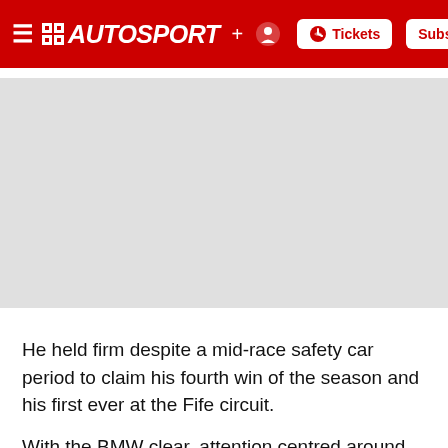AUTOSPORT
[Figure (photo): A light grey placeholder image rectangle representing a race car photo]
He held firm despite a mid-race safety car period to claim his fourth win of the season and his first ever at the Fife circuit.
With the BMW clear, attention centred around the fight for second position as Gordon Shedden's works Honda battled with the soft-tyred Audi A4 of